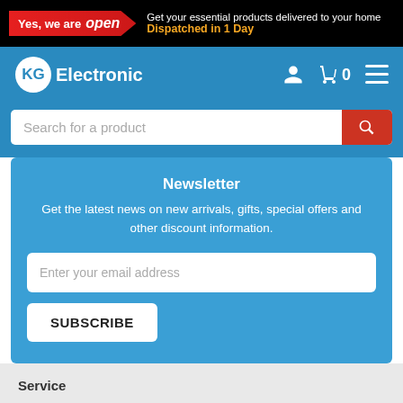Yes, we are open — Get your essential products delivered to your home. Dispatched in 1 Day
[Figure (logo): KG Electronic logo with stylized KG icon and word Electronic in white]
Search for a product
Newsletter
Get the latest news on new arrivals, gifts, special offers and other discount information.
Enter your email address
SUBSCRIBE
Service
My Account
Resolution Centre